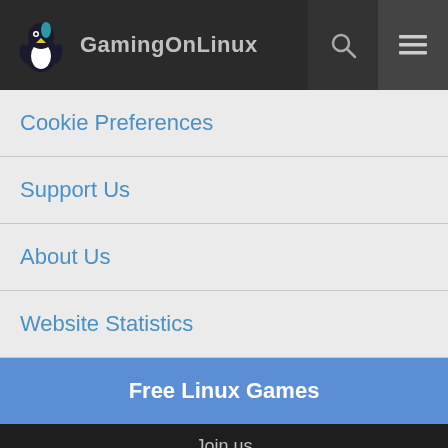GamingOnLinux
Cookie Preferences
Support Us
About Us
Website Statistics
Free Linux Games
Join us
[Figure (infographic): Social media icons grid: Twitter, Telegram, Discord (top row); Matrix, Steam, Twitch (bottom row)]